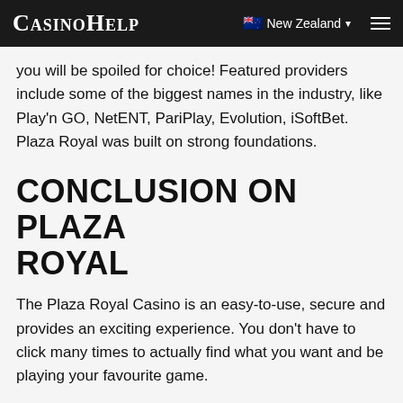CasinoHelp  New Zealand
you will be spoiled for choice! Featured providers include some of the biggest names in the industry, like Play'n GO, NetENT, PariPlay, Evolution, iSoftBet. Plaza Royal was built on strong foundations.
CONCLUSION ON PLAZA ROYAL
The Plaza Royal Casino is an easy-to-use, secure and provides an exciting experience. You don't have to click many times to actually find what you want and be playing your favourite game.
Including unique features such its free demos for slot games, it is a perfect casino for people who know how to